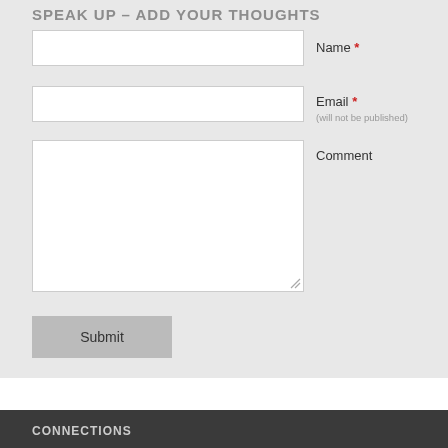SPEAK UP – ADD YOUR THOUGHTS
Name *
Email * (will not be published)
Comment
Submit
CONNECTIONS